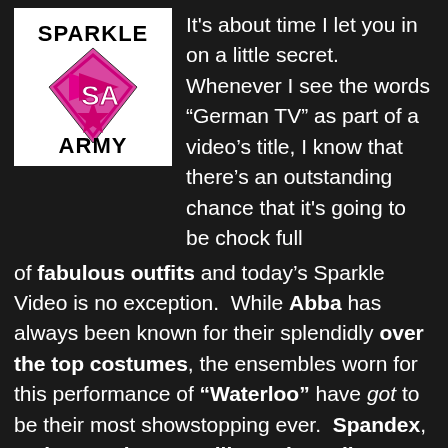[Figure (logo): Sparkle Army logo: black text 'SPARKLE' and 'ARMY' with pink diamond/star graphic shape containing 'SA' letters, on white background]
It's about time I let you in on a little secret.  Whenever I see the words “German TV” as part of a video’s title, I know that there’s an outstanding chance that it's going to be chock full of fabulous outfits and today’s Sparkle Video is no exception.  While Abba has always been known for their splendidly over the top costumes, the ensembles worn for this performance of “Waterloo” have got to be their most showstopping ever.  Spandex, satin, sequins, metallics, mirror tiles, glittering instruments, space cuffs, platform shoes and